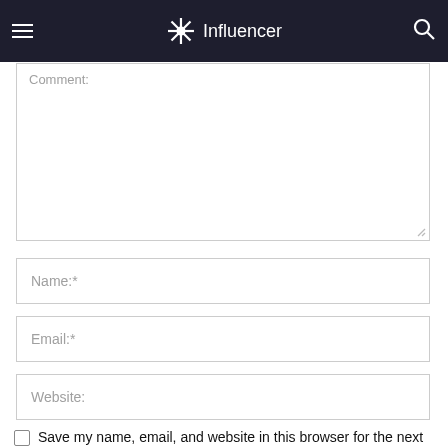LEAVE A REPLY
Influencer
Comment:
Name:*
Email:*
Website:
Save my name, email, and website in this browser for the next time I comment.